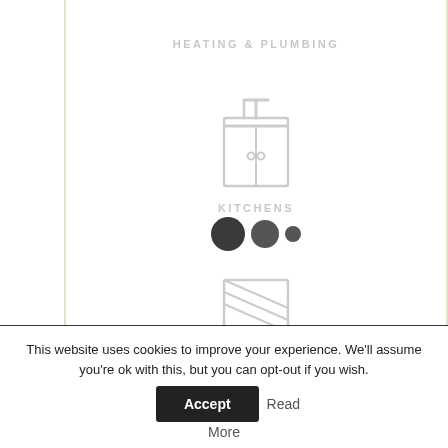[Figure (illustration): Icon of a kitchen sink with cabinet below, light gray outline style]
HEATING & PLUMBING
[Figure (illustration): Icon of a kitchen sink unit with cabinet doors and faucet, light gray outline style]
KITCHENS
[Figure (illustration): Three carousel navigation dots: large filled dark, medium filled dark, small filled dark]
[Figure (illustration): Icon of a window blind or roller shutter with up arrow, light gray outline style]
This website uses cookies to improve your experience. We'll assume you're ok with this, but you can opt-out if you wish.
Accept
Read More